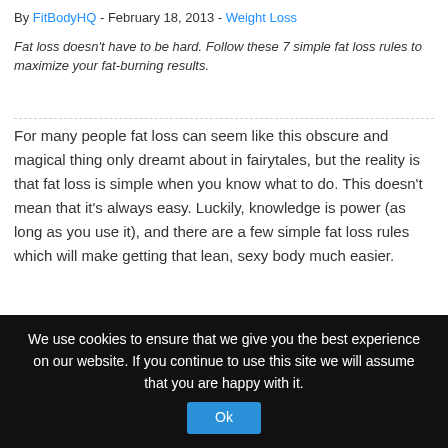By FitBodyHQ - February 18, 2013 - Weight Loss
Fat loss doesn't have to be hard. Follow these 7 simple fat loss rules to maximize your fat-burning results.
For many people fat loss can seem like this obscure and magical thing only dreamt about in fairytales, but the reality is that fat loss is simple when you know what to do. This doesn't mean that it's always easy. Luckily, knowledge is power (as long as you use it), and there are a few simple fat loss rules which will make getting that lean, sexy body much easier.
[Figure (infographic): Advertisement banner for Dr. M.R. Khalifeh, MD with blue gradient background, titled 'Call Dr Mr Khalifeh Today', subtitle 'Our Consultants Will Build Your Confidence With Expert Advice & Skillful Surgery']
We use cookies to ensure that we give you the best experience on our website. If you continue to use this site we will assume that you are happy with it. Ok